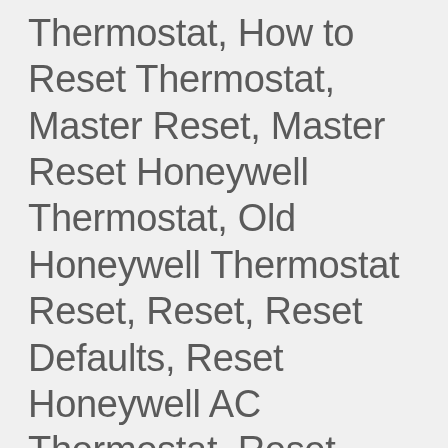Thermostat, How to Reset Thermostat, Master Reset, Master Reset Honeywell Thermostat, Old Honeywell Thermostat Reset, Reset, Reset Defaults, Reset Honeywell AC Thermostat, Reset Honeywell Programmable Thermostat, Reset Honeywell Proseries Thermostat, Reset Honeywell Thermostat, Reset Honeywell Thermostat Password, Reset Honeywell WiFi Thermostat...